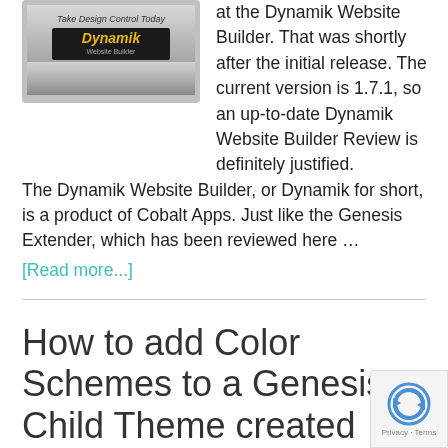[Figure (screenshot): Screenshot of Dynamik Website Builder promotional image with text 'Take Design Control Today' and 'Dynamik Website Builder' on a dark/silver background]
at the Dynamik Website Builder. That was shortly after the initial release. The current version is 1.7.1, so an up-to-date Dynamik Website Builder Review is definitely justified. The Dynamik Website Builder, or Dynamik for short, is a product of Cobalt Apps. Just like the Genesis Extender, which has been reviewed here …
[Read more...]
How to add Color Schemes to a Genesis Child Theme created with